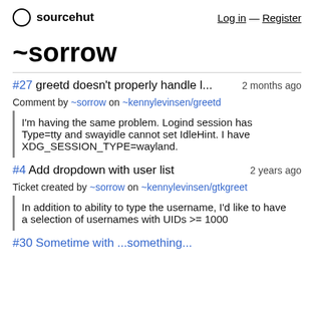sourcehut   Log in — Register
~sorrow
#27 greetd doesn't properly handle l...   2 months ago
Comment by ~sorrow on ~kennylevinsen/greetd
I'm having the same problem. Logind session has Type=tty and swayidle cannot set IdleHint. I have XDG_SESSION_TYPE=wayland.
#4 Add dropdown with user list   2 years ago
Ticket created by ~sorrow on ~kennylevinsen/gtkgreet
In addition to ability to type the username, I'd like to have a selection of usernames with UIDs >= 1000
#30 ...